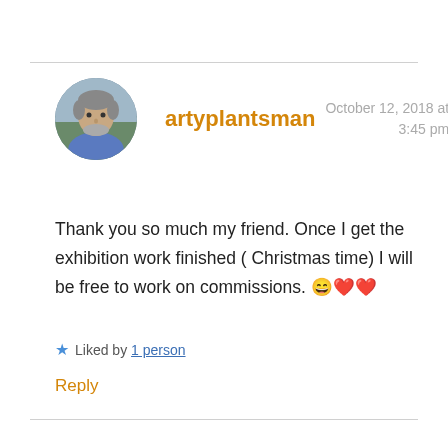[Figure (photo): Circular avatar photo of a man with gray-streaked hair and beard, wearing a blue shirt, outdoors background.]
artyplantsman
October 12, 2018 at 3:45 pm
Thank you so much my friend. Once I get the exhibition work finished ( Christmas time) I will be free to work on commissions. 😄❤❤
★ Liked by 1 person
Reply